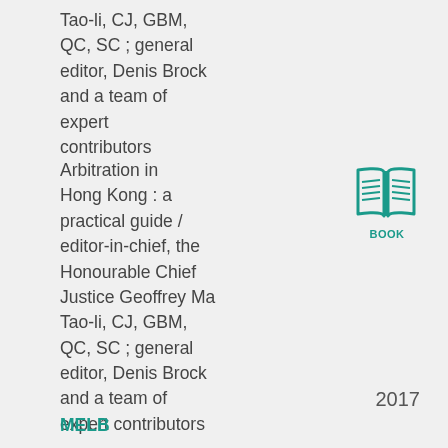Tao-li, CJ, GBM, QC, SC ; general editor, Denis Brock and a team of expert contributors
Arbitration in Hong Kong : a practical guide / editor-in-chief, the Honourable Chief Justice Geoffrey Ma Tao-li, CJ, GBM, QC, SC ; general editor, Denis Brock and a team of expert contributors
[Figure (illustration): Teal/green open book icon with lines representing text on pages, labeled BOOK underneath]
2017
MELB